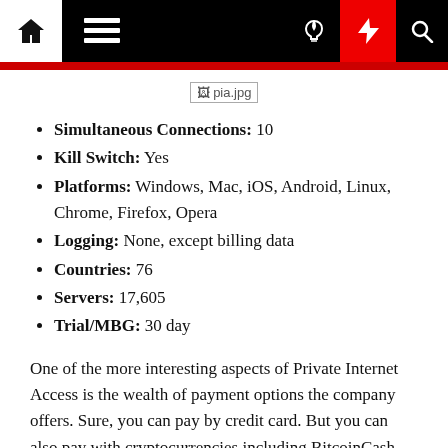Navigation bar with home, menu, dark mode, lightning, and search icons
[Figure (photo): Broken image placeholder labeled pia.jpg]
Simultaneous Connections: 10
Kill Switch: Yes
Platforms: Windows, Mac, iOS, Android, Linux, Chrome, Firefox, Opera
Logging: None, except billing data
Countries: 76
Servers: 17,605
Trial/MBG: 30 day
One of the more interesting aspects of Private Internet Access is the wealth of payment options the company offers. Sure, you can pay by credit card. But you can also pay with cryptocurrencies including BitcoinCash, Bitcoin, Zcash, Ethereum, and Litecoin. If you're not all up on the crypto-craze but